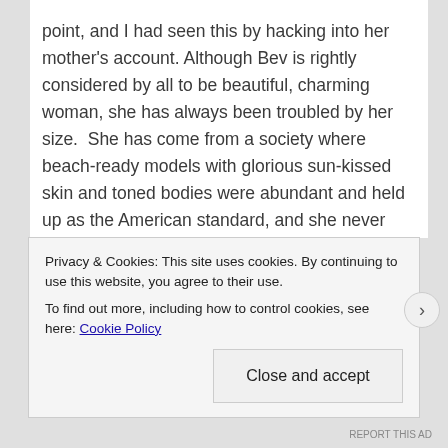point, and I had seen this by hacking into her mother's account. Although Bev is rightly considered by all to be beautiful, charming woman, she has always been troubled by her size.  She has come from a society where beach-ready models with glorious sun-kissed skin and toned bodies were abundant and held up as the American standard, and she never really has been able to ignore that particular form of indoctrination. Her wonderfully curved hips, ample thighs and plump rear are anathema to her, and she has convinced herself that she is fat. No amount of argument on my side has
Privacy & Cookies: This site uses cookies. By continuing to use this website, you agree to their use.
To find out more, including how to control cookies, see here: Cookie Policy
Close and accept